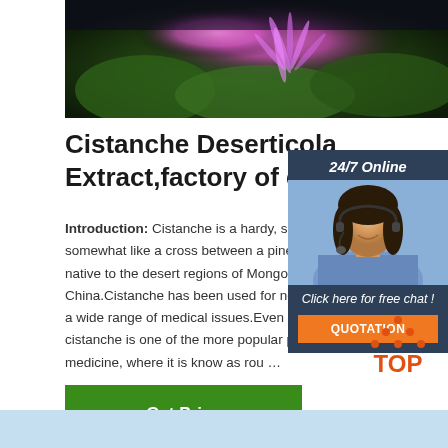[Figure (photo): Close-up photo of a pink-purple flower with green leaves, likely a Cistanche flower, against a dark background]
Cistanche Deserticola Extract,factory of cistanche
Introduction: Cistanche is a hardy, shrub-like plant somewhat like a cross between a pine cone and native to the desert regions of Mongolia and north China.Cistanche has been used for nearly 2,000 a wide range of medical issues.Even in modern t cistanche is one of the more popular plants used medicine, where it is know as rou …
[Figure (photo): Customer service representative sidebar widget with 24/7 Online label, photo of smiling woman with headset, Click here for free chat text, and orange QUOTATION button]
Get Price
[Figure (logo): Orange TOP logo with dots arranged in triangle above the word TOP]